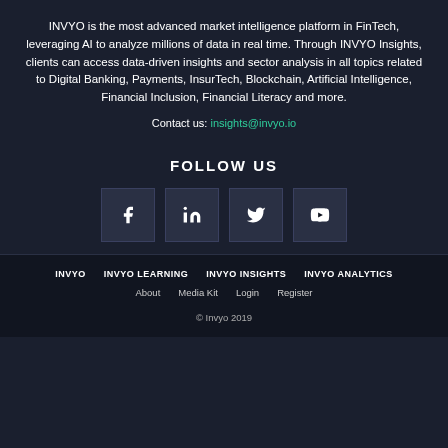INVYO is the most advanced market intelligence platform in FinTech, leveraging AI to analyze millions of data in real time. Through INVYO Insights, clients can access data-driven insights and sector analysis in all topics related to Digital Banking, Payments, InsurTech, Blockchain, Artificial Intelligence, Financial Inclusion, Financial Literacy and more.
Contact us: insights@invyo.io
FOLLOW US
[Figure (other): Four social media icon buttons: Facebook, LinkedIn, Twitter, YouTube]
INVYO  INVYO LEARNING  INVYO INSIGHTS  INVYO ANALYTICS  About  Media Kit  Login  Register  © Invyo 2019